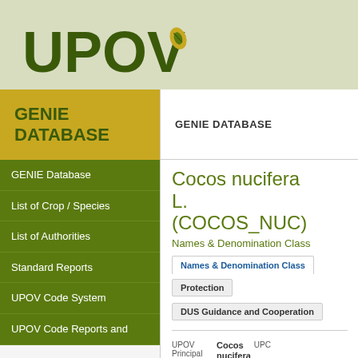[Figure (logo): UPOV logo with green leaf inside the letter O, bold dark green text]
GENIE DATABASE
GENIE DATABASE
GENIE Database
List of Crop / Species
List of Authorities
Standard Reports
UPOV Code System
UPOV Code Reports and
Cocos nucifera L. (COCOS_NUC)
Names & Denomination Class
| Names & Denomination Class | Protection | DUS Guidance and Cooperation |
| --- | --- | --- |
| UPOV | Principal | Cocos nucifera | UPC |